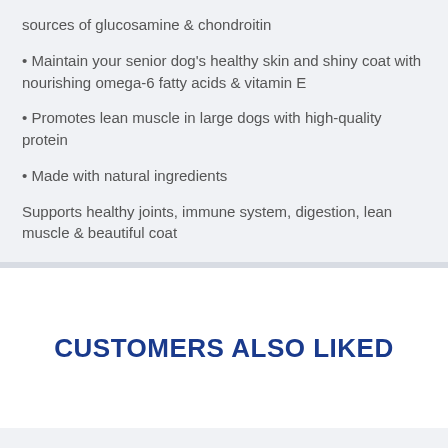sources of glucosamine & chondroitin
Maintain your senior dog's healthy skin and shiny coat with nourishing omega-6 fatty acids & vitamin E
Promotes lean muscle in large dogs with high-quality protein
Made with natural ingredients
Supports healthy joints, immune system, digestion, lean muscle & beautiful coat
CUSTOMERS ALSO LIKED